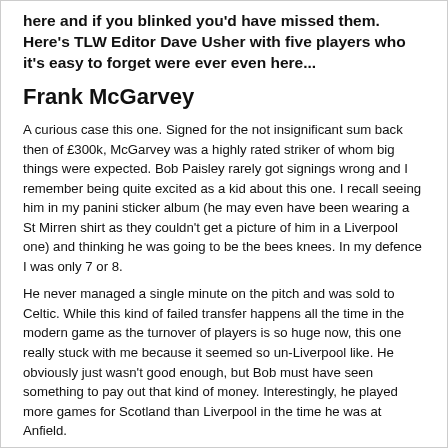here and if you blinked you'd have missed them. Here's TLW Editor Dave Usher with five players who it's easy to forget were ever even here...
Frank McGarvey
A curious case this one. Signed for the not insignificant sum back then of £300k, McGarvey was a highly rated striker of whom big things were expected. Bob Paisley rarely got signings wrong and I remember being quite excited as a kid about this one. I recall seeing him in my panini sticker album (he may even have been wearing a St Mirren shirt as they couldn't get a picture of him in a Liverpool one) and thinking he was going to be the bees knees. In my defence I was only 7 or 8.
He never managed a single minute on the pitch and was sold to Celtic. While this kind of failed transfer happens all the time in the modern game as the turnover of players is so huge now, this one really stuck with me because it seemed so un-Liverpool like. He obviously just wasn't good enough, but Bob must have seen something to pay out that kind of money. Interestingly, he played more games for Scotland than Liverpool in the time he was at Anfield.